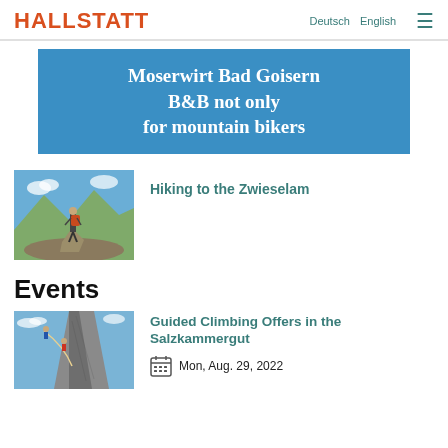HALLSTATT | Deutsch  English
[Figure (infographic): Blue banner with white bold text: Moserwirt Bad Goisern B&B not only for mountain bikers]
[Figure (photo): Hiker with orange backpack standing on rocks looking at mountain landscape]
Hiking to the Zwieselam
Events
[Figure (photo): Climbers on a rock face with rope, blue sky background]
Guided Climbing Offers in the Salzkammergut
Mon, Aug. 29, 2022